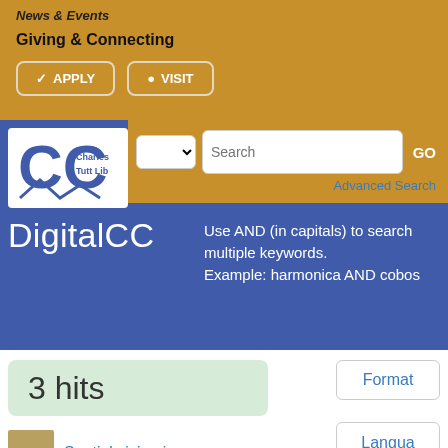News & Events
Giving & Connecting
✔ APPLY   📍 VISIT
[Figure (logo): Charles C. Tutt Library CC logo in white on blue square]
Search GO Advanced Search
DigitalCC
Use AND (in capitals) to search multiple keywords. Example: harmonica AND cobos
3 hits
Format
Languages
Spatial vision in